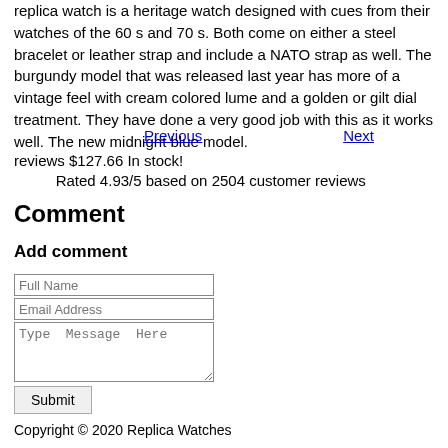replica watch is a heritage watch designed with cues from their watches of the 60 s and 70 s. Both come on either a steel bracelet or leather strap and include a NATO strap as well. The burgundy model that was released last year has more of a vintage feel with cream colored lume and a golden or gilt dial treatment. They have done a very good job with this as it works well. The new midnight blue model.
Previous   Next
reviews $127.66 In stock!
Rated 4.93/5 based on 2504 customer reviews
Comment
Add comment
Full Name
Email Address
Type Message Here
Submit
Copyright © 2020 Replica Watches